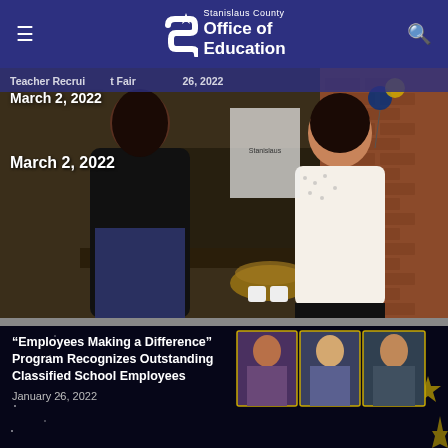Stanislaus County Office of Education
[Figure (photo): Teacher recruitment fair scene: two women conversing across a table at what appears to be an education job fair. One woman in a black jacket faces away, the other in a white patterned top gestures while speaking. A table with a basket and mugs is visible, along with banners and other attendees in the background.]
Teacher Recruitment Fair - January 26, 2022 / March 2, 2022
[Figure (photo): Dark background card showing multiple portrait photos of award recipients for the Employees Making a Difference program recognizing outstanding classified school employees, with gold star decorations.]
“Employees Making a Difference” Program Recognizes Outstanding Classified School Employees
January 26, 2022